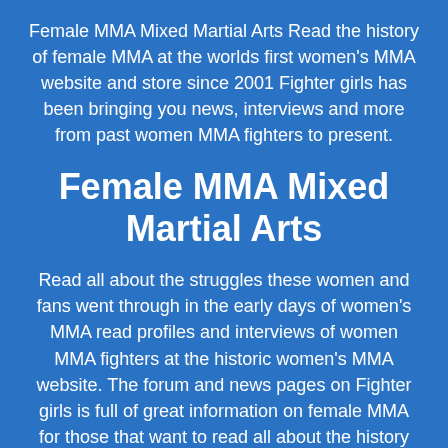Female MMA Mixed Martial Arts Read the history of female MMA at the worlds first women's MMA website and store since 2001 Fighter girls has been bringing you news, interviews and more from past women MMA fighters to present.
Female MMA Mixed Martial Arts
Read all about the struggles these women and fans went through in the early days of women's MMA read profiles and interviews of women MMA fighters at the historic women's MMA website. The forum and news pages on Fighter girls is full of great information on female MMA for those that want to read all about the history and...